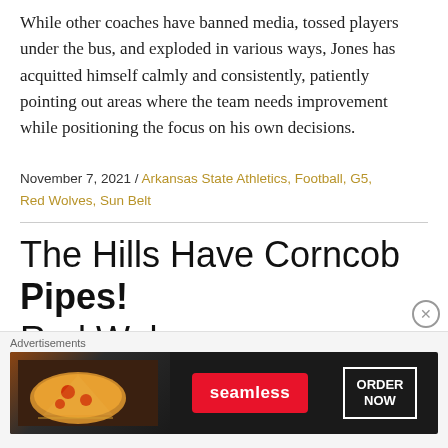While other coaches have banned media, tossed players under the bus, and exploded in various ways, Jones has acquitted himself calmly and consistently, patiently pointing out areas where the team needs improvement while positioning the focus on his own decisions.
November 7, 2021 / Arkansas State Athletics, Football, G5, Red Wolves, Sun Belt
The Hills Have Corncob Pipes! Red Wolves vs Mountaineers Preview
[Figure (other): Seamless food delivery advertisement banner with pizza image, Seamless logo in red button, and ORDER NOW button in white border on dark background]